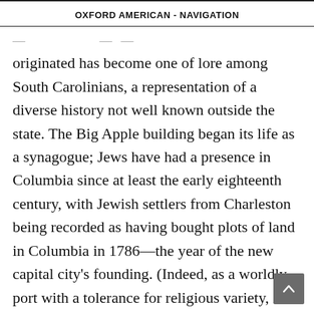OXFORD AMERICAN - NAVIGATION
originated has become one of lore among South Carolinians, a representation of a diverse history not well known outside the state. The Big Apple building began its life as a synagogue; Jews have had a presence in Columbia since at least the early eighteenth century, with Jewish settlers from Charleston being recorded as having bought plots of land in Columbia in 1786—the year of the new capital city's founding. (Indeed, as a worldly port with a tolerance for religious variety, in 1800 Charleston housed the largest Jewish population in North America.) By the early twentieth